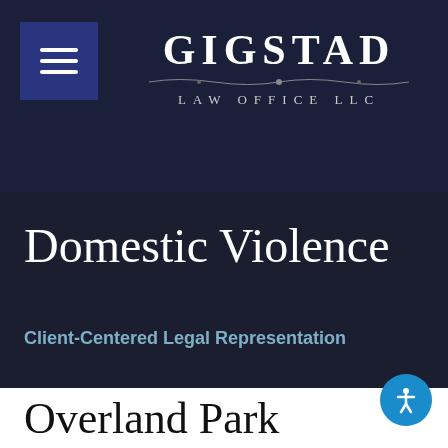[Figure (logo): Gigstad Law Office LLC logo with hamburger menu icon on dark navy background]
(888) 387-2036
Domestic Violence
Client-Centered Legal Representation
Overland Park